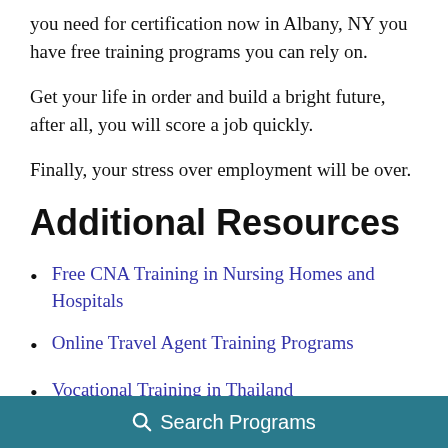you need for certification now in Albany, NY you have free training programs you can rely on.
Get your life in order and build a bright future, after all, you will score a job quickly.
Finally, your stress over employment will be over.
Additional Resources
Free CNA Training in Nursing Homes and Hospitals
Online Travel Agent Training Programs
Vocational Training in Thailand
Pharmacy Technician Training: Classes & Programs
Search Programs